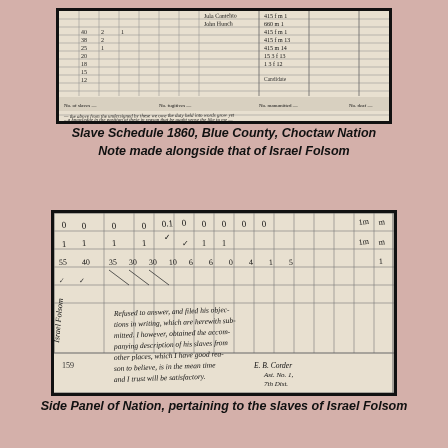[Figure (photo): Scanned image of Slave Schedule 1860, Blue County, Choctaw Nation, showing handwritten tabular entries in a census form with columns and rows of handwritten data]
Slave Schedule 1860, Blue County, Choctaw Nation
Note made alongside that of Israel Folsom
[Figure (photo): Scanned image of Side Panel of Nation, pertaining to the slaves of Israel Folsom. Shows handwritten note reading 'Refused to answer, and filed his objections in writing, which are herewith submitted. I however, obtained the accompanying description of his slaves from other places, which I have good reason to believe, is in the mean time and I trust will be satisfactory. E.B. Corder, Ast. No. 1, 7th Dist.' with name 'Israel Folsom' on the left margin and number 159 at bottom.]
Side Panel of Nation, pertaining to the slaves of Israel Folsom